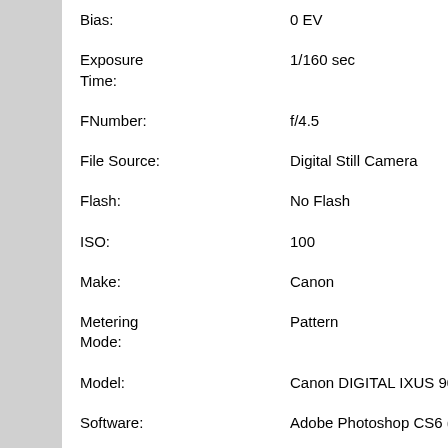| Field | Value |
| --- | --- |
| Bias: | 0 EV |
| Exposure Time: | 1/160 sec |
| FNumber: | f/4.5 |
| File Source: | Digital Still Camera |
| Flash: | No Flash |
| ISO: | 100 |
| Make: | Canon |
| Metering Mode: | Pattern |
| Model: | Canon DIGITAL IXUS 90 IS |
| Software: | Adobe Photoshop CS6 (Windows) |
| URL: | https://leoforeia.gr/photos/displayimage.php?pid=17801 |
| Favorites: | Add to Favorites |
| Embed URL: | Κώδικας για προβολή στο forum (μικρογραφία)
[url=https://leoforeia.gr/photos/displayimage.php?pos= |